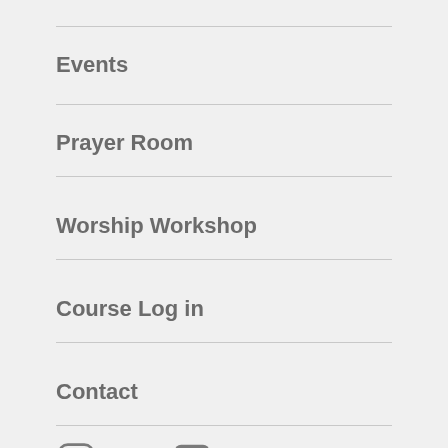Events
Prayer Room
Worship Workshop
Course Log in
Contact
[Figure (other): Social media icons: Instagram, YouTube, Facebook, Twitter, and a BACK TO TOP link]